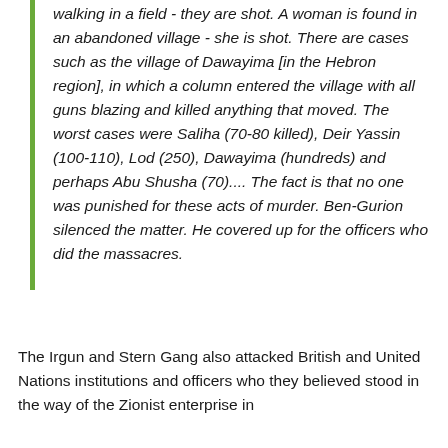walking in a field - they are shot. A woman is found in an abandoned village - she is shot. There are cases such as the village of Dawayima [in the Hebron region], in which a column entered the village with all guns blazing and killed anything that moved. The worst cases were Saliha (70-80 killed), Deir Yassin (100-110), Lod (250), Dawayima (hundreds) and perhaps Abu Shusha (70).... The fact is that no one was punished for these acts of murder. Ben-Gurion silenced the matter. He covered up for the officers who did the massacres.
The Irgun and Stern Gang also attacked British and United Nations institutions and officers who they believed stood in the way of the Zionist enterprise in